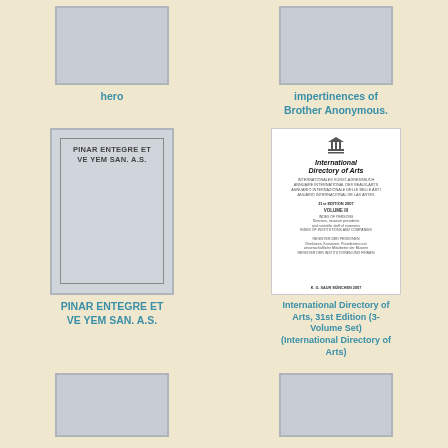[Figure (illustration): Gray book cover placeholder, top-left]
hero
[Figure (illustration): Gray book cover placeholder, top-right]
impertinences of Brother Anonymous.
[Figure (illustration): Book cover: PINAR ENTEGRE ET VE YEM SAN. A.S. with inner border frame]
PINAR ENTEGRE ET VE YEM SAN. A.S.
[Figure (illustration): Book cover: International Directory of Arts with UNESCO logo, 31st Edition, Volume III]
International Directory of Arts, 31st Edition (3-Volume Set) (International Directory of Arts)
[Figure (illustration): Gray book cover placeholder, bottom-left]
[Figure (illustration): Gray book cover placeholder, bottom-right]